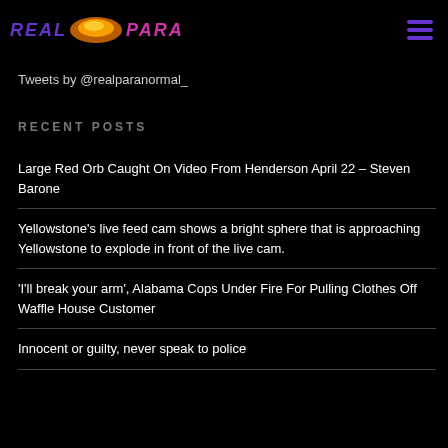REAL PARA [logo] — hamburger menu
Tweets by @realparanormal_
RECENT POSTS
Large Red Orb Caught On Video From Henderson April 22 – Steven Barone
Yellowstone's live feed cam shows a bright sphere that is approaching Yellowstone to explode in front of the live cam.
'I'll break your arm', Alabama Cops Under Fire For Pulling Clothes Off Waffle House Customer
Innocent or guilty, never speak to police